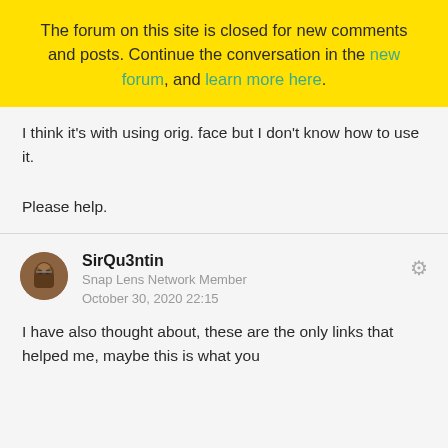The forum on this site is closed for new comments and posts. Continue the conversation in the new forum, and learn more here.
I think it's with using orig. face but I don't know how to use it.
Please help.
SirQu3ntin
Snap Lens Network Member
October 30, 2020 22:15
I have also thought about, these are the only links that helped me, maybe this is what you